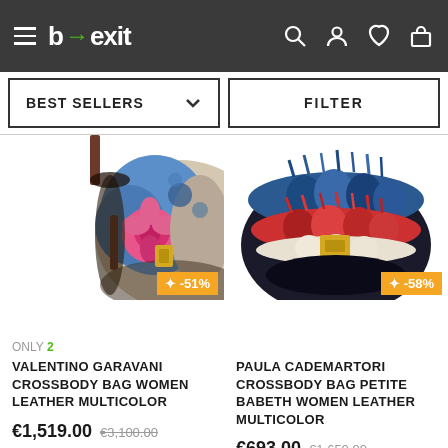[Figure (screenshot): b→exit e-commerce website header with hamburger menu, logo, and icons for search, account, wishlist, cart]
[Figure (other): BEST SELLERS dropdown and FILTER button bar]
[Figure (photo): Valentino Garavani crossbody bag - colorful floral multicolor leather bag, partially cropped]
[Figure (photo): Paula Cademartori crossbody bag Petite Babeth - furry monster face multicolor bag, partially cropped]
ONLY 2 VALENTINO GARAVANI CROSSBODY BAG WOMEN LEATHER MULTICOLOR
€1,519.00 €3,100.00
One Size
PAULA CADEMARTORI CROSSBODY BAG PETITE BABETH WOMEN LEATHER MULTICOLOR
€693.00 €1,650.00
One Size